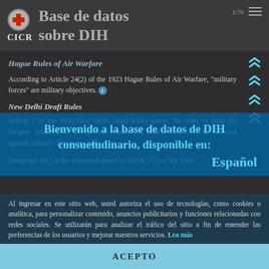Base de datos sobre DIH — CICR
Hague Rules of Air Warfare
According to Article 24(2) of the 1923 Hague Rules of Air Warfare, "military forces" are military objectives.
New Delhi Draft Rules
Article 7 of the 1956 New Delhi Draft Rules states: "In order to limit the dangers incurred by the civilian population, attacks may only be directed against military objectives."
Paragraph 1(1) of the proposed annex to Article 7(2) of the 1956
Bienvenido a la base de datos de DIH consuetudinario, disponible en: Español
Al ingresar en este sitio web, usted autoriza el uso de tecnologías, como cookies o analítica, para personalizar contenido, anuncios publicitarios y funciones relacionadas con redes sociales. Se utilizarán para analizar el tráfico del sitio a fin de entender las preferencias de los usuarios y mejorar nuestros servicios. Lea más
ACEPTO